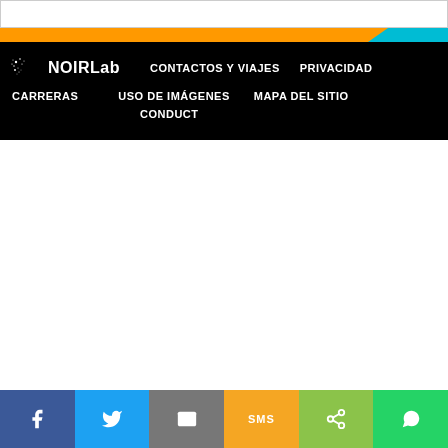[Figure (screenshot): NOIRLab website footer navigation on black background with logo, nav links (CONTACTOS Y VIAJES, PRIVACIDAD, CARRERAS, USO DE IMÁGENES, MAPA DEL SITIO, CONDUCT), and social share buttons at bottom (Facebook, Twitter, Email, SMS, Share, WhatsApp)]